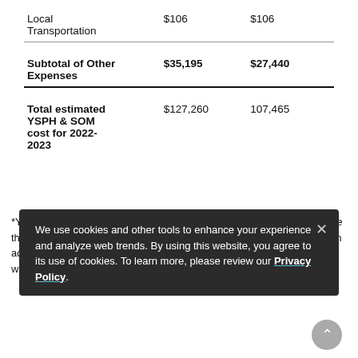|  | Column 1 | Column 2 |
| --- | --- | --- |
| Local Transportation | $106 | $106 |
| Subtotal of Other Expenses | $35,195 | $27,440 |
| Total estimated YSPH & SOM cost for 2022-2023 | $127,260 | 107,465 |
*Yale Health Plan charges may be waived if you maintain your coverage through another provider. Spouse and family coverage is available at an additional cost. More information is available on the Yale Health Plan website.